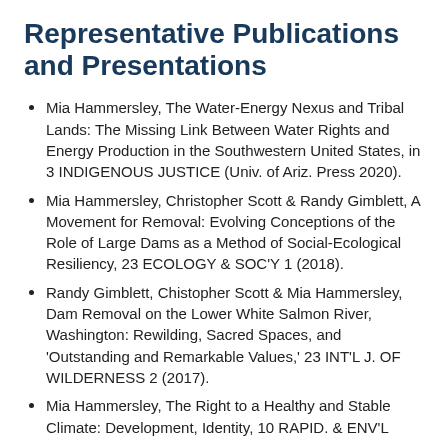Representative Publications and Presentations
Mia Hammersley, The Water-Energy Nexus and Tribal Lands: The Missing Link Between Water Rights and Energy Production in the Southwestern United States, in 3 INDIGENOUS JUSTICE (Univ. of Ariz. Press 2020).
Mia Hammersley, Christopher Scott & Randy Gimblett, A Movement for Removal: Evolving Conceptions of the Role of Large Dams as a Method of Social-Ecological Resiliency, 23 ECOLOGY & SOC'Y 1 (2018).
Randy Gimblett, Chistopher Scott & Mia Hammersley, Dam Removal on the Lower White Salmon River, Washington: Rewilding, Sacred Spaces, and 'Outstanding and Remarkable Values,' 23 INT'L J. OF WILDERNESS 2 (2017).
Mia Hammersley, The Right to a Healthy and Stable Climate: Development, Identity, 10 RAPID. & ENV'L...